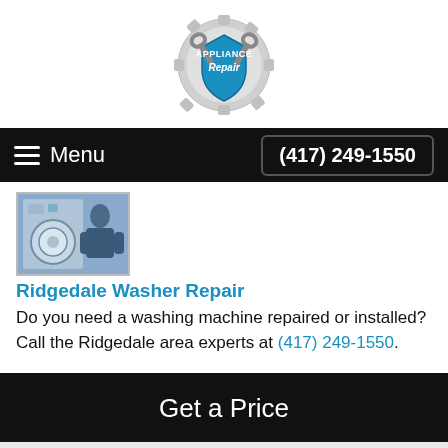[Figure (logo): Appliance Repair logo with wrenches and shield emblem, gear border]
Menu  (417) 249-1550
[Figure (photo): Photo of a washing machine repair technician working on a washer]
Ridgedale Washer Repair
Do you need a washing machine repaired or installed? Call the Ridgedale area experts at (417) 249-1550.
Get a Price
Name